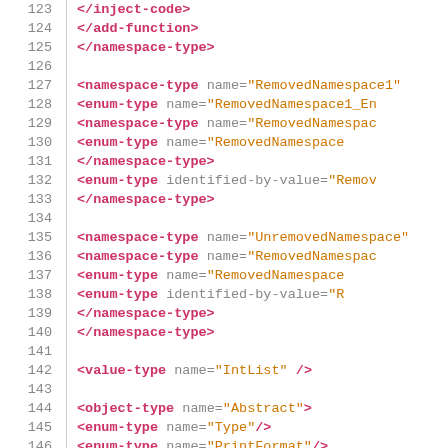[Figure (screenshot): XML/code listing with line numbers 123-149, showing namespace-type, enum-type, object-type, value-type, and modify-function XML elements with tag names in pink/red and attribute values in orange, on white background with gray line numbers separated by a vertical bar.]